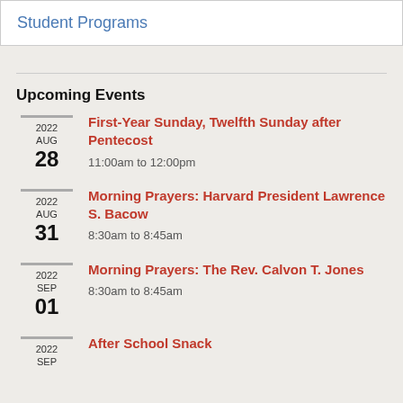Student Programs
Upcoming Events
First-Year Sunday, Twelfth Sunday after Pentecost
11:00am to 12:00pm
2022 AUG 28
Morning Prayers: Harvard President Lawrence S. Bacow
8:30am to 8:45am
2022 AUG 31
Morning Prayers: The Rev. Calvon T. Jones
8:30am to 8:45am
2022 SEP 01
After School Snack
2022 SEP